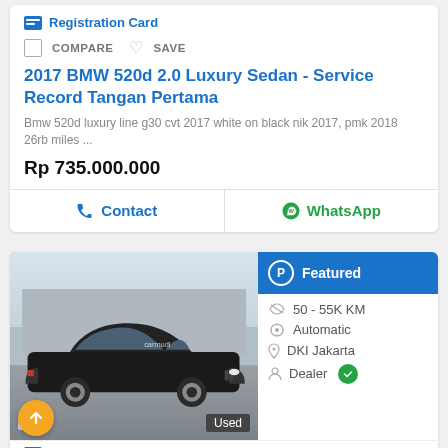Registration Card
COMPARE  SAVE
2017 BMW 520d 2.0 Luxury Sedan - Service Record Tangan Pertama
Bmw 520d luxury line g30 cvt 2017 white on black nik 2017, pmk 2018 26rb miles ...
Rp 735.000.000
Contact
WhatsApp
[Figure (photo): Black BMW 5-series sedan car photo with carmudi watermark, photo count 15, Used badge]
Featured
50 - 55K KM
Automatic
DKI Jakarta
Dealer
Registration Card
COMPARE  SAVE